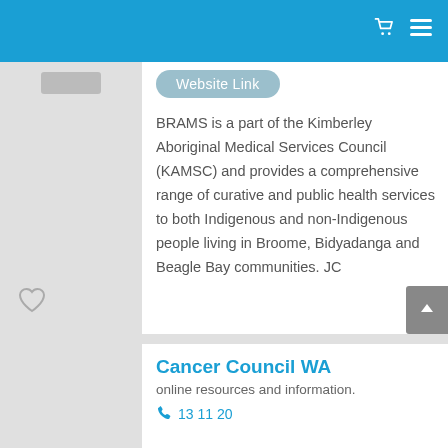Website Link
BRAMS is a part of the Kimberley Aboriginal Medical Services Council (KAMSC) and provides a comprehensive range of curative and public health services to both Indigenous and non-Indigenous people living in Broome, Bidyadanga and Beagle Bay communities. JC
Cancer Council WA
online resources and information.
13 11 20